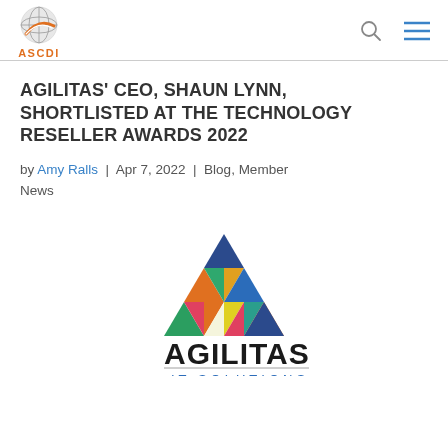ASCDI
AGILITAS' CEO, SHAUN LYNN, SHORTLISTED AT THE TECHNOLOGY RESELLER AWARDS 2022
by Amy Ralls | Apr 7, 2022 | Blog, Member News
[Figure (logo): Agilitas IT Solutions logo — colorful triangle mosaic above the word AGILITAS in bold black, with IT SOLUTIONS below in teal/dark teal]